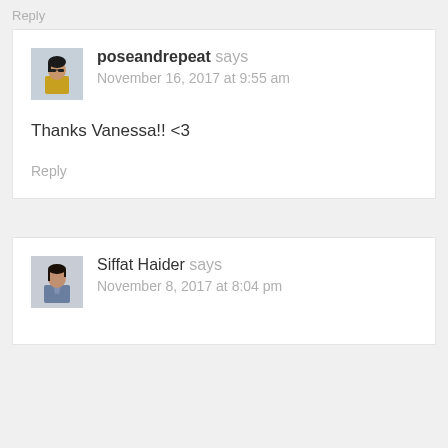Reply
poseandrepeat says
November 16, 2017 at 9:55 am
Thanks Vanessa!! <3
Reply
Siffat Haider says
November 8, 2017 at 8:04 pm